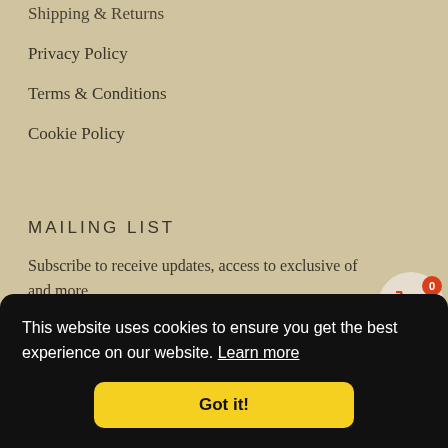Shipping & Returns
Privacy Policy
Terms & Conditions
Cookie Policy
MAILING LIST
Subscribe to receive updates, access to exclusive of and more
Enter your email address
This website uses cookies to ensure you get the best experience on our website. Learn more
Got it!